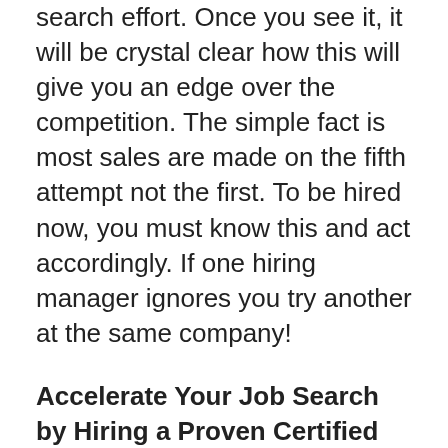search effort. Once you see it, it will be crystal clear how this will give you an edge over the competition. The simple fact is most sales are made on the fifth attempt not the first. To be hired now, you must know this and act accordingly. If one hiring manager ignores you try another at the same company!
Accelerate Your Job Search by Hiring a Proven Certified Professional Résumé Writer or Executive Résumé Writer –
Recognize that with a massive glut of unemployed/ underemployed talent at every level, the candidates with the best marketing and connections always win. Notice I did not say the best-qualified candidates win. It takes marketing, brains and action to secure employment today. Develop a working partnership with a great résumé writer, so you can benefit from